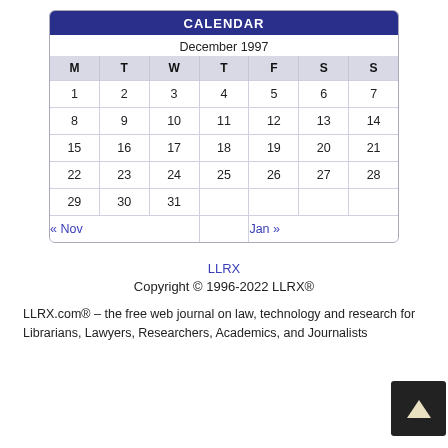CALENDAR
| M | T | W | T | F | S | S |
| --- | --- | --- | --- | --- | --- | --- |
| 1 | 2 | 3 | 4 | 5 | 6 | 7 |
| 8 | 9 | 10 | 11 | 12 | 13 | 14 |
| 15 | 16 | 17 | 18 | 19 | 20 | 21 |
| 22 | 23 | 24 | 25 | 26 | 27 | 28 |
| 29 | 30 | 31 |  |  |  |  |
| « Nov |  |  |  | Jan » |  |  |
LLRX
Copyright © 1996-2022 LLRX®
LLRX.com® – the free web journal on law, technology and research for Librarians, Lawyers, Researchers, Academics, and Journalists